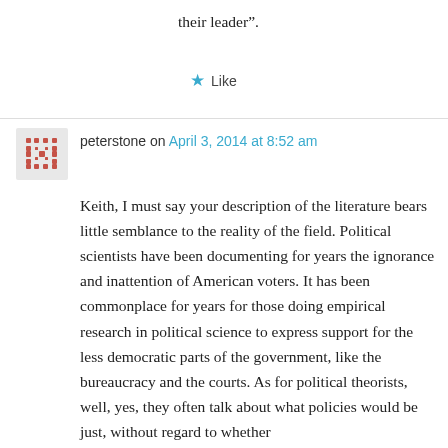their leader”.
★ Like
peterstone on April 3, 2014 at 8:52 am
Keith, I must say your description of the literature bears little semblance to the reality of the field. Political scientists have been documenting for years the ignorance and inattention of American voters. It has been commonplace for years for those doing empirical research in political science to express support for the less democratic parts of the government, like the bureaucracy and the courts. As for political theorists, well, yes, they often talk about what policies would be just, without regard to whether